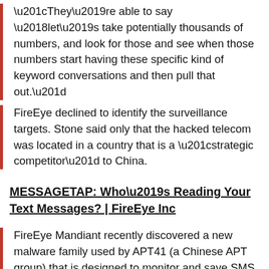“They’re able to say ‘let’s take potentially thousands of numbers, and look for those and see when those numbers start having these specific kind of keyword conversations and then pull that out.”
FireEye declined to identify the surveillance targets. Stone said only that the hacked telecom was located in a country that is a “strategic competitor” to China.
MESSAGETAP: Who’s Reading Your Text Messages? | FireEye Inc
FireEye Mandiant recently discovered a new malware family used by APT41 (a Chinese APT group) that is designed to monitor and save SMS traffic from specific phone numbers, IMSI numbers